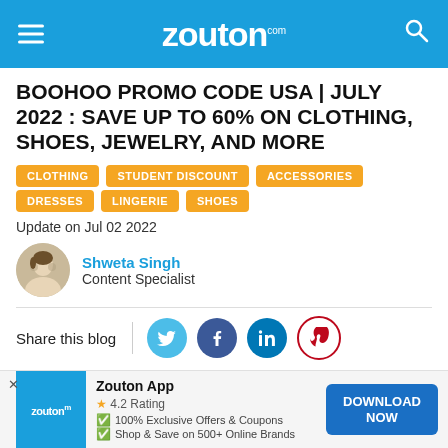zouton.com
BOOHOO PROMO CODE USA | JULY 2022 : SAVE UP TO 60% ON CLOTHING, SHOES, JEWELRY, AND MORE
CLOTHING
STUDENT DISCOUNT
ACCESSORIES
DRESSES
LINGERIE
SHOES
Update on Jul 02 2022
Shweta Singh
Content Specialist
Share this blog
Voila! Time to shop from marvelous clothing and shoe collection as a stupendous 60% discount is waiting just for you. Unlock such astonishing deals by redeeming the Boohoo promo code and attain
Zouton App
4.2 Rating
100% Exclusive Offers & Coupons
Shop & Save on 500+ Online Brands
DOWNLOAD NOW